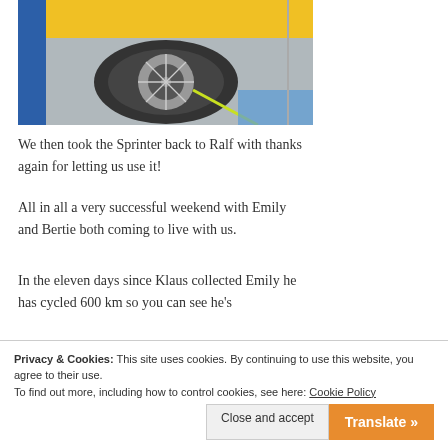[Figure (photo): Photo of a bicycle wheel and yellow/blue vehicle (Sprinter), taken inside a cargo area. Shows the wheel secured inside the vehicle.]
We then took the Sprinter back to Ralf with thanks again for letting us use it!
All in all a very successful weekend with Emily and Bertie both coming to live with us.
In the eleven days since Klaus collected Emily he has cycled 600 km so you can see he's
(faded/cut-off line)
Privacy & Cookies: This site uses cookies. By continuing to use this website, you agree to their use.
To find out more, including how to control cookies, see here: Cookie Policy
Close and accept
Translate »